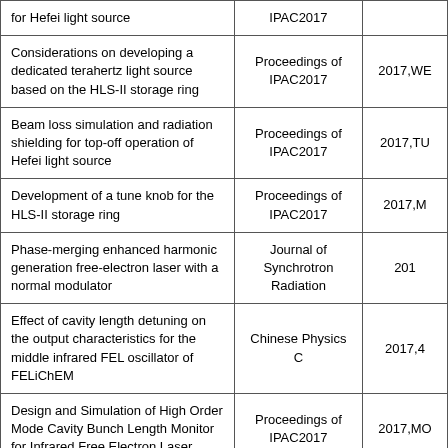| Title | Publication | Year/Code |
| --- | --- | --- |
| for Hefei light source | IPAC2017 |  |
| Considerations on developing a dedicated terahertz light source based on the HLS-II storage ring | Proceedings of IPAC2017 | 2017,WE |
| Beam loss simulation and radiation shielding for top-off operation of Hefei light source | Proceedings of IPAC2017 | 2017,TU |
| Development of a tune knob for the HLS-II storage ring | Proceedings of IPAC2017 | 2017,M |
| Phase-merging enhanced harmonic generation free-electron laser with a normal modulator | Journal of Synchrotron Radiation | 201 |
| Effect of cavity length detuning on the output characteristics for the middle infrared FEL oscillator of FELiChEM | Chinese Physics C | 2017,4 |
| Design and Simulation of High Order Mode Cavity Bunch Length Monitor for Infrared Free Electron Laser | Proceedings of IPAC2017 | 2017,MO |
| The New Beam Current Transformer for IR-FEL Facility at NSRL | Proceedings of IPAC2017 | 2017,MO |